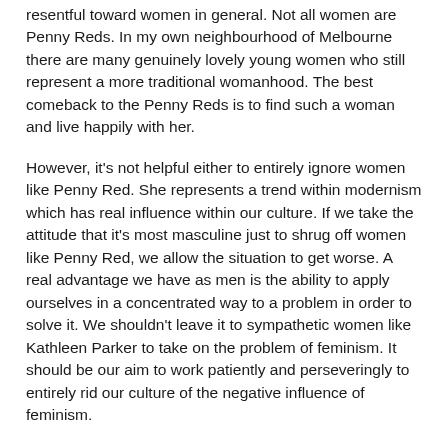resentful toward women in general. Not all women are Penny Reds. In my own neighbourhood of Melbourne there are many genuinely lovely young women who still represent a more traditional womanhood. The best comeback to the Penny Reds is to find such a woman and live happily with her.
However, it's not helpful either to entirely ignore women like Penny Red. She represents a trend within modernism which has real influence within our culture. If we take the attitude that it's most masculine just to shrug off women like Penny Red, we allow the situation to get worse. A real advantage we have as men is the ability to apply ourselves in a concentrated way to a problem in order to solve it. We shouldn't leave it to sympathetic women like Kathleen Parker to take on the problem of feminism. It should be our aim to work patiently and perseveringly to entirely rid our culture of the negative influence of feminism.
How do we do this? There are at least four ways to argue persuasively against Penny Red's politics.
The first is simply to point out the factual errors. On average